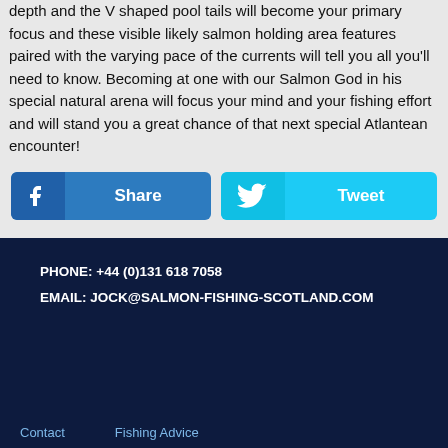depth and the V shaped pool tails will become your primary focus and these visible likely salmon holding area features paired with the varying pace of the currents will tell you all you'll need to know. Becoming at one with our Salmon God in his special natural arena will focus your mind and your fishing effort and will stand you a great chance of that next special Atlantean encounter!
[Figure (other): Facebook Share button and Twitter Tweet button]
PHONE: +44 (0)131 618 7058
EMAIL: JOCK@SALMON-FISHING-SCOTLAND.COM
Contact   Fishing Advice